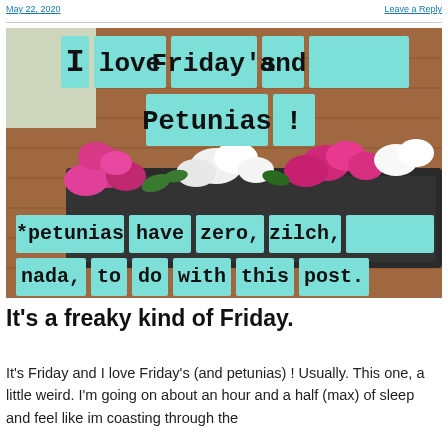May 22, 2020 | Leave a Reply
[Figure (photo): A window flower box filled with pink and white petunias against a brick wall. Overlaid teal/mint colored text boxes with typewriter font read: 'I love Friday's and Petunias!' and '*petunias have zero, zilch, nada, to do with this post.']
It's a freaky kind of Friday.
It's Friday and I love Friday's (and petunias) ! Usually. This one, a little weird. I'm going on about an hour and a half (max) of sleep and feel like im coasting through the